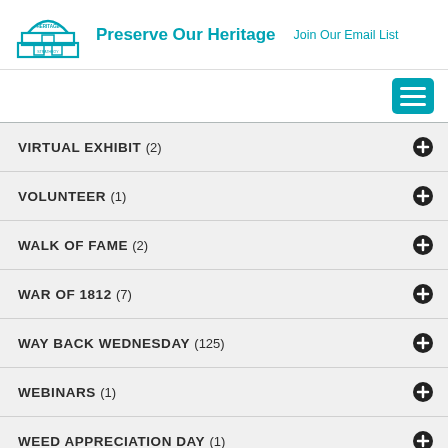[Figure (logo): Heritage Strathroy logo - arch/building icon in teal]
Preserve Our Heritage   Join Our Email List
VIRTUAL EXHIBIT (2)
VOLUNTEER (1)
WALK OF FAME (2)
WAR OF 1812 (7)
WAY BACK WEDNESDAY (125)
WEBINARS (1)
WEED APPRECIATION DAY (1)
WOMEN IN HISTORY (9)